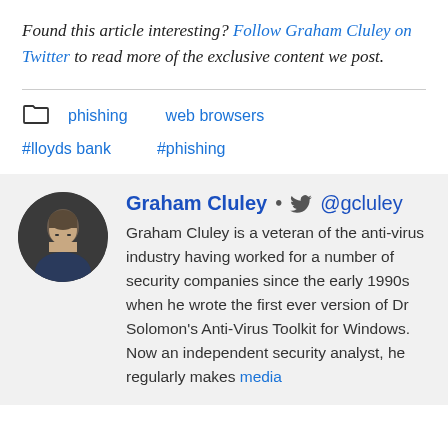Found this article interesting? Follow Graham Cluley on Twitter to read more of the exclusive content we post.
phishing
web browsers
#lloyds bank
#phishing
Graham Cluley • @gcluley
Graham Cluley is a veteran of the anti-virus industry having worked for a number of security companies since the early 1990s when he wrote the first ever version of Dr Solomon's Anti-Virus Toolkit for Windows. Now an independent security analyst, he regularly makes media